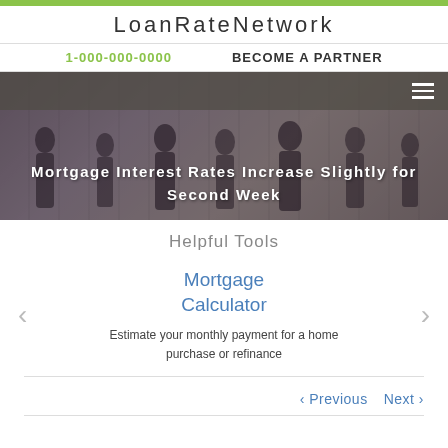LoanRateNetwork
1-000-000-0000   BECOME A PARTNER
[Figure (photo): Hero banner with silhouettes of business people walking, dark overlay, with navigation hamburger menu icon]
Mortgage Interest Rates Increase Slightly for Second Week
Helpful Tools
Mortgage Calculator
Estimate your monthly payment for a home purchase or refinance
< Previous   Next >